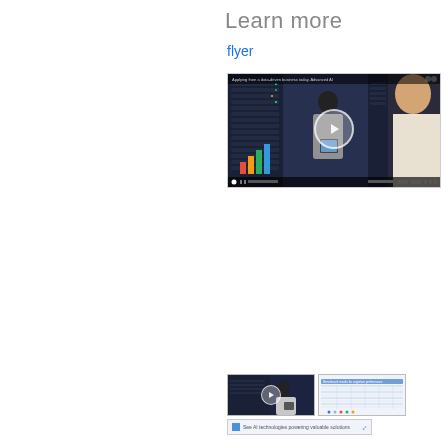Learn more
flyer
[Figure (screenshot): Video player showing two people in a server room; play button overlay; colorful bar chart in lower left corner; video controls at bottom]
[Figure (screenshot): Small video thumbnail showing person in server room with play button overlay]
[Figure (screenshot): Small document thumbnail showing a table/spreadsheet with blue accents]
[Figure (screenshot): Small link/URL bar element]